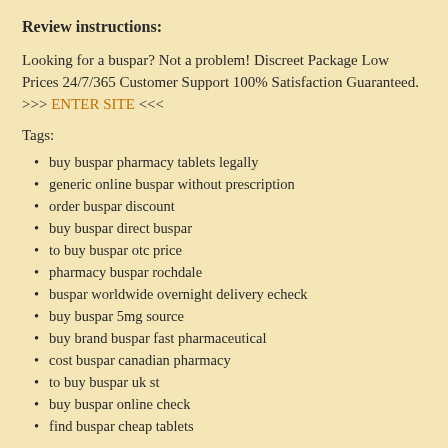Review instructions:
Looking for a buspar? Not a problem! Discreet Package Low Prices 24/7/365 Customer Support 100% Satisfaction Guaranteed. >>> ENTER SITE <<<
Tags:
buy buspar pharmacy tablets legally
generic online buspar without prescription
order buspar discount
buy buspar direct buspar
to buy buspar otc price
pharmacy buspar rochdale
buspar worldwide overnight delivery echeck
buy buspar 5mg source
buy brand buspar fast pharmaceutical
cost buspar canadian pharmacy
to buy buspar uk st
buy buspar online check
find buspar cheap tablets